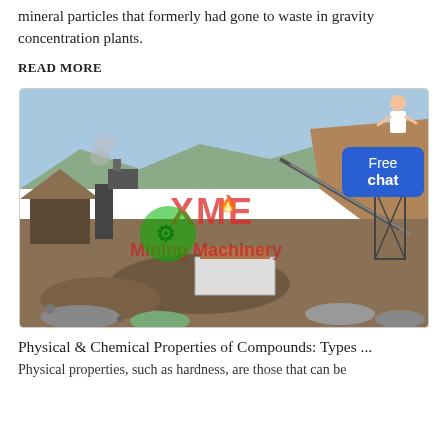mineral particles that formerly had gone to waste in gravity concentration plants.
READ MORE
[Figure (photo): Outdoor mining/quarry site with industrial equipment, conveyor belts, and piles of crushed rock. A green XME company logo watermark is overlaid in the center of the image. A 'Free chat' button with an avatar is visible in the top-right corner of the image.]
Physical & Chemical Properties of Compounds: Types ...
Physical properties, such as hardness, are those that can be